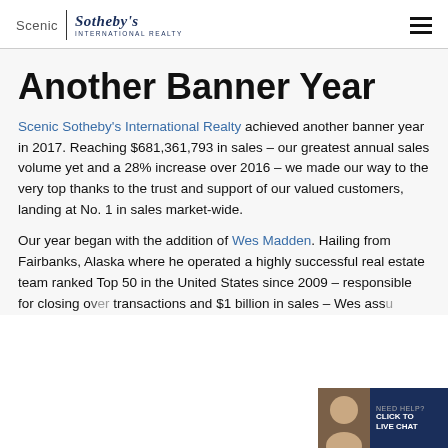Scenic | Sotheby's INTERNATIONAL REALTY
Another Banner Year
Scenic Sotheby's International Realty achieved another banner year in 2017. Reaching $681,361,793 in sales – our greatest annual sales volume yet and a 28% increase over 2016 – we made our way to the very top thanks to the trust and support of our valued customers, landing at No. 1 in sales market-wide.
Our year began with the addition of Wes Madden. Hailing from Fairbanks, Alaska where he operated a highly successful real estate team ranked Top 50 in the United States since 2009 – responsible for closing o... transactions and $1 billion in sales – Wes ass... ...Chief Operations Officer and Sales Manager